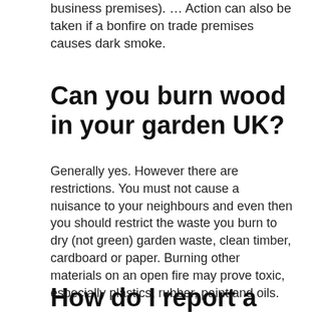business premises). … Action can also be taken if a bonfire on trade premises causes dark smoke.
Can you burn wood in your garden UK?
Generally yes. However there are restrictions. You must not cause a nuisance to your neighbours and even then you should restrict the waste you burn to dry (not green) garden waste, clean timber, cardboard or paper. Burning other materials on an open fire may prove toxic, especially plastics, rubber, paint and oils.
How do I report a Neighbour